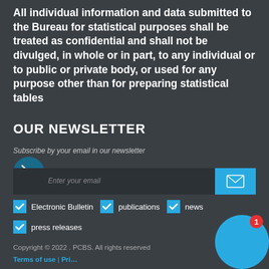All individual information and data submitted to the Bureau for statistical purposes shall be treated as confidential and shall not be divulged, in whole or in part, to any individual or to public or private body, or used for any purpose other than for preparing statistical tables
OUR NEWSLETTER
Subscribe by your email in our newsletter
[Figure (infographic): Email subscription form with privacy icon, email input field, send button, and checkboxes for Electronic Bulletin, publications, news, press releases]
Copyright © 2022 . PCBS. All rights reserved
Terms of use | Privacy